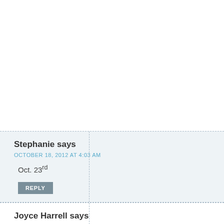Stephanie says
OCTOBER 18, 2012 AT 4:03 AM
Oct. 23rd
REPLY
Joyce Harrell says
OCTOBER 18, 2012 AT 4:22 AM
Oct. 25
REPLY
Mary Happymommy says